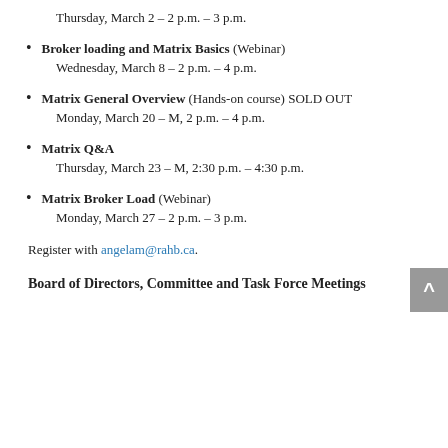Thursday, March 2 – 2 p.m. – 3 p.m.
Broker loading and Matrix Basics (Webinar)
Wednesday, March 8 – 2 p.m. – 4 p.m.
Matrix General Overview (Hands-on course) SOLD OUT
Monday, March 20 – M, 2 p.m. – 4 p.m.
Matrix Q&A
Thursday, March 23 – M, 2:30 p.m. – 4:30 p.m.
Matrix Broker Load (Webinar)
Monday, March 27 – 2 p.m. – 3 p.m.
Register with angelam@rahb.ca.
Board of Directors, Committee and Task Force Meetings